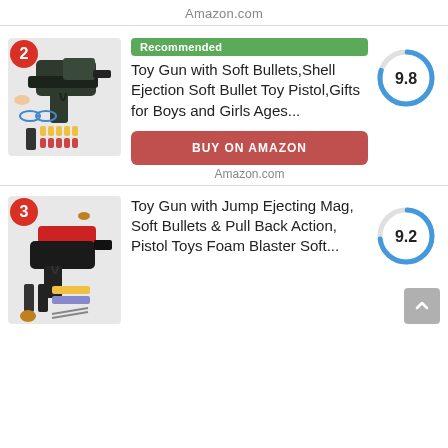Amazon.com
[Figure (photo): Toy gun product image with rank badge 2, showing a dark pistol toy with soft bullets and accessories]
Recommended
Toy Gun with Soft Bullets,Shell Ejection Soft Bullet Toy Pistol,Gifts for Boys and Girls Ages...
[Figure (other): Circular score gauge showing 9.8 with blue arc]
BUY ON AMAZON
Amazon.com
[Figure (photo): Toy gun product image with rank badge 3, showing a red and black pistol toy with accessories]
Toy Gun with Jump Ejecting Mag, Soft Bullets & Pull Back Action, Pistol Toys Foam Blaster Soft...
[Figure (other): Circular score gauge showing 9.2 with blue arc]